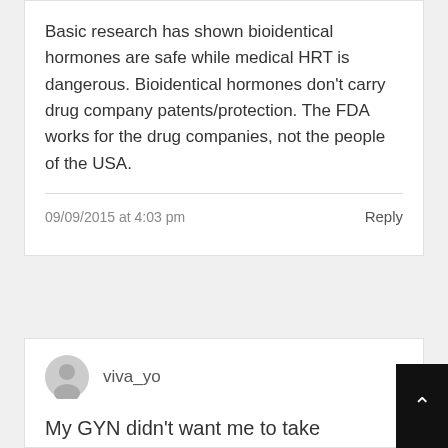Basic research has shown bioidentical hormones are safe while medical HRT is dangerous. Bioidentical hormones don't carry drug company patents/protection. The FDA works for the drug companies, not the people of the USA.
09/09/2015 at 4:03 pm
Reply
viva_yo
My GYN didn't want me to take synthetic hormones so I used Progest Cream instead. It worked beautifully